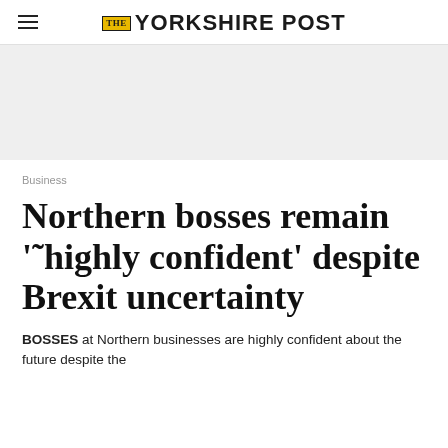THE YORKSHIRE POST
[Figure (other): Advertisement banner placeholder grey area]
Business
Northern bosses remain '˜highly confident' despite Brexit uncertainty
BOSSES at Northern businesses are highly confident about the future despite the